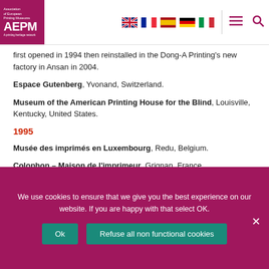Association of European Printing Museums AEPM – navigation header with language flags
first opened in 1994 then reinstalled in the Dong-A Printing's new factory in Ansan in 2004.
Espace Gutenberg, Yvonand, Switzerland.
Museum of the American Printing House for the Blind, Louisville, Kentucky, United States.
1995
Musée des imprimés en Luxembourg, Redu, Belgium.
Colophon – Maison de l'imprimeur, Grignan, France.
Moulin de la Tourne, Les Marches, France.
Center for Contemporary Graphic Art, Sukagawa, Fukushima, Japan. Museum and archive established by Dai Nippon Printing...
We use cookies to ensure that we give you the best experience on our website. If you are happy with that select OK.